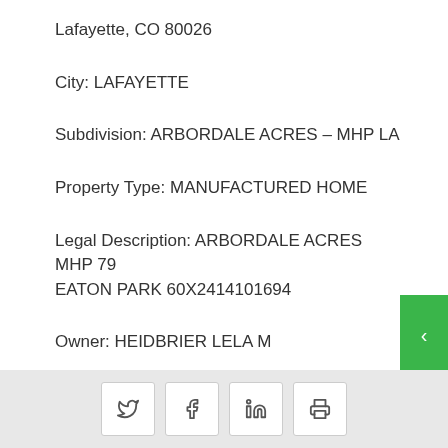Lafayette, CO 80026
City: LAFAYETTE
Subdivision: ARBORDALE ACRES – MHP LA
Property Type: MANUFACTURED HOME
Legal Description: ARBORDALE ACRES MHP 79 EATON PARK 60X2414101694
Owner: HEIDBRIER LELA M
Public data is sourced from various Boulder
Social share and print icons: Twitter, Facebook, LinkedIn, Print